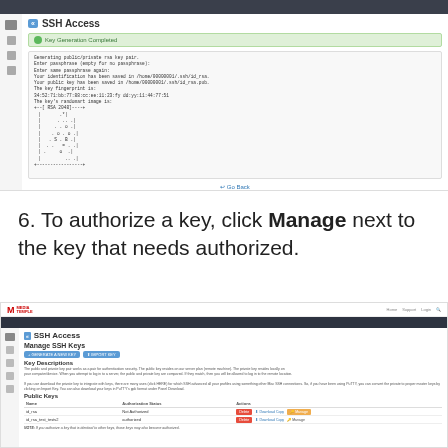[Figure (screenshot): Screenshot of SSH Access terminal output showing key generation results with a Go Back button]
6. To authorize a key, click Manage next to the key that needs authorized.
[Figure (screenshot): Screenshot of SSH Access Manage SSH Keys page showing Public Keys table with id_rsa and id_rsa_test_testv2 keys, with Manage button highlighted in yellow]